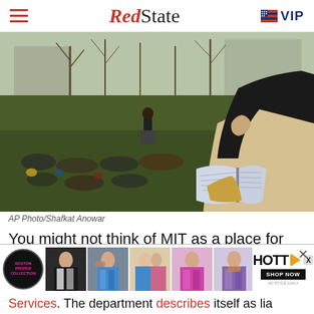RedState VIP
[Figure (photo): Outdoor scene on a college campus lawn with a crowd of students sitting on grass listening to a speaker at a podium. A woman in a beige coat stands in the foreground reading from an open book (Bible). Bare trees and a building visible in the background.]
AP Photo/Shafkat Anowar
You might not think of MIT as a place for Bible school, but the college is hosting a deep dive into the scriptures
[Figure (photo): Advertisement banner showing fashion/clothing imagery with multiple models wearing various outfits alongside a HOTT brand logo and 'SHOP NOW' button.]
Services. The department describes itself as lia...